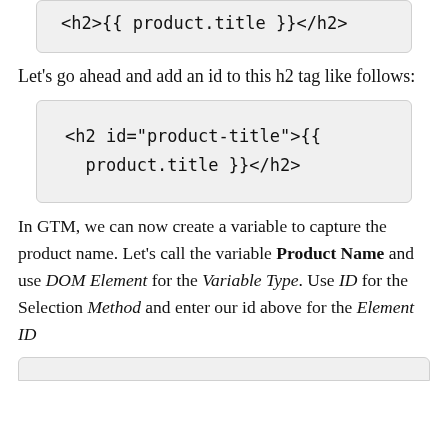[Figure (screenshot): Code box (top, partially visible) showing: <h2>{{ product.title }}</h2>]
Let's go ahead and add an id to this h2 tag like follows:
[Figure (screenshot): Code box showing: <h2 id="product-title">{{ product.title }}</h2>]
In GTM, we can now create a variable to capture the product name. Let's call the variable Product Name and use DOM Element for the Variable Type. Use ID for the Selection Method and enter our id above for the Element ID
[Figure (screenshot): Bottom code box, partially visible]